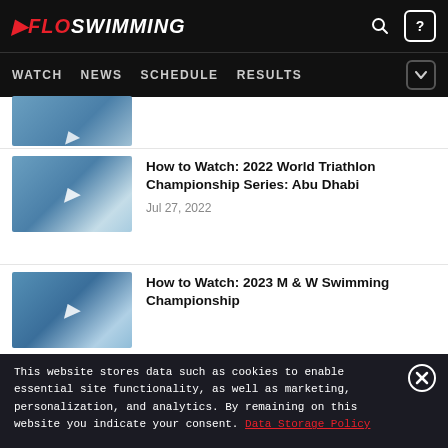FloSWIMMING — WATCH  NEWS  SCHEDULE  RESULTS
[Figure (screenshot): Partial thumbnail of swimming article at top]
How to Watch: 2022 World Triathlon Championship Series: Abu Dhabi — Jul 27, 2022
How to Watch: 2023 M & W Swimming Championship
This website stores data such as cookies to enable essential site functionality, as well as marketing, personalization, and analytics. By remaining on this website you indicate your consent. Data Storage Policy